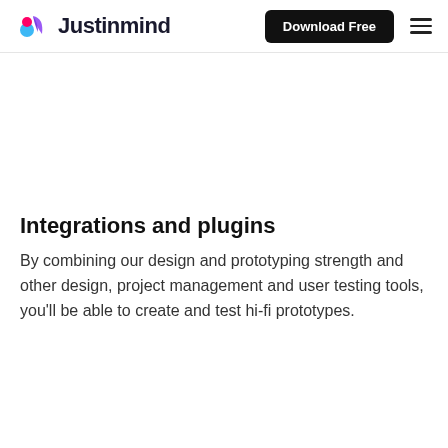Justinmind — Download Free
Integrations and plugins
By combining our design and prototyping strength and other design, project management and user testing tools, you'll be able to create and test hi-fi prototypes.